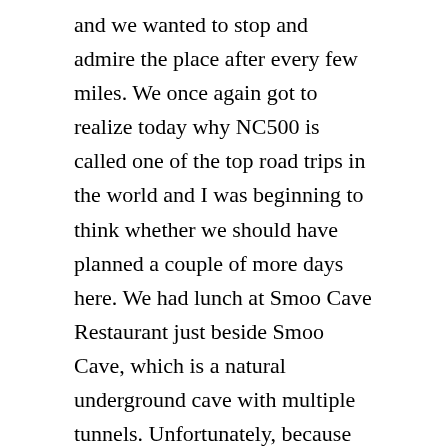and we wanted to stop and admire the place after every few miles. We once again got to realize today why NC500 is called one of the top road trips in the world and I was beginning to think whether we should have planned a couple of more days here. We had lunch at Smoo Cave Restaurant just beside Smoo Cave, which is a natural underground cave with multiple tunnels. Unfortunately, because of bad weather, it was closed.
As it was getting late, we skipped a few places like Tongue and Bettyhill beach and headed straight towards Thurso. We bought Chinese takeaway dinner and planned to eat in front of Dunnet Head lighthouse which is the 2nd most Northern part of mainland UK. Although the Chinese food